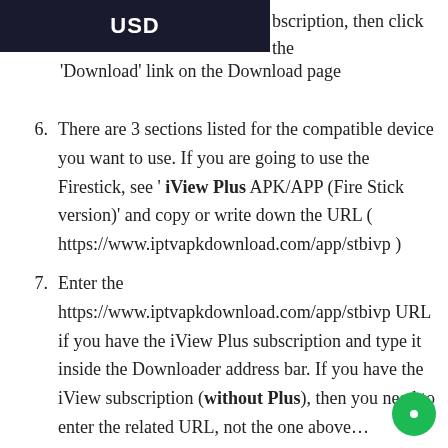USD
bscription, then click the 'Download' link on the Download page
There are 3 sections listed for the compatible device you want to use. If you are going to use the Firestick, see ' iView Plus APK/APP (Fire Stick version)' and copy or write down the URL ( https://www.iptvapkdownload.com/app/stbivp )
Enter the https://www.iptvapkdownload.com/app/stbivp URL if you have the iView Plus subscription and type it inside the Downloader address bar. If you have the iView subscription (without Plus), then you need to enter the related URL, not the one above…
If you choose a subscription from the iView category